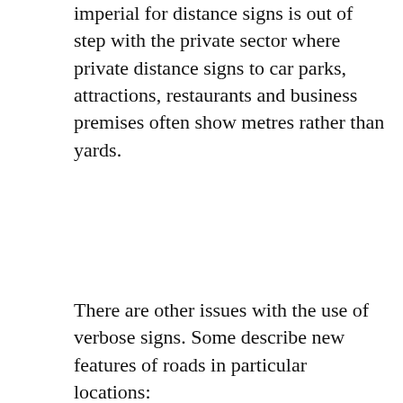imperial for distance signs is out of step with the private sector where private distance signs to car parks, attractions, restaurants and business premises often show metres rather than yards.
There are other issues with the use of verbose signs. Some describe new features of roads in particular locations:
[Figure (photo): A red road sign with white text reading 'NEW ONE WAY SYSTEM AHEAD' with a white arrow pointing right, mounted on a post against a background of green foliage.]